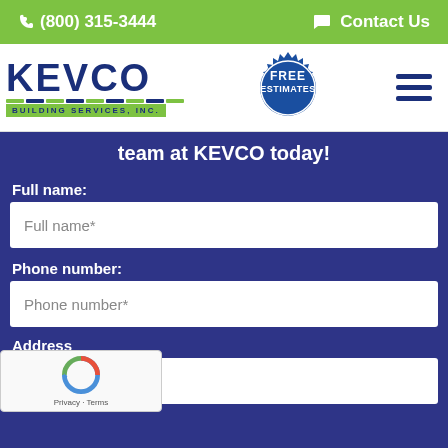(800) 315-3444   Contact Us
[Figure (logo): KEVCO Building Services Inc. logo with green tagline bar and Free Estimates seal badge, plus hamburger menu icon]
team at KEVCO today!
Full name:
Full name*
Phone number:
Phone number*
Address
ddress